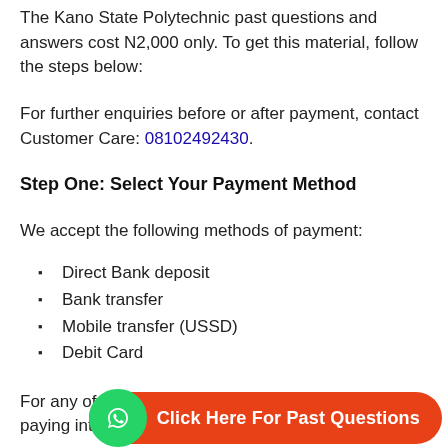The Kano State Polytechnic past questions and answers cost N2,000 only. To get this material, follow the steps below:
For further enquiries before or after payment, contact Customer Care: 08102492430.
Step One: Select Your Payment Method
We accept the following methods of payment:
Direct Bank deposit
Bank transfer
Mobile transfer (USSD)
Debit Card
For any of the payment method above, you will be paying into the account deta
Account Number: 0253990474
[Figure (infographic): Orange pill-shaped CTA button with WhatsApp icon and text 'Click Here For Past Questions']